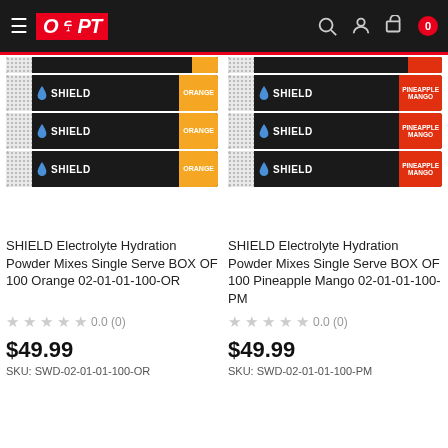OPT
[Figure (photo): SHIELD Electrolyte Hydration Powder Mix packet strips - Orange flavor (4 packets visible)]
[Figure (photo): SHIELD Electrolyte Hydration Powder Mix packet strips - Pineapple Mango flavor (4 packets visible)]
SHIELD Electrolyte Hydration Powder Mixes Single Serve BOX OF 100 Orange 02-01-01-100-OR
SHIELD Electrolyte Hydration Powder Mixes Single Serve BOX OF 100 Pineapple Mango 02-01-01-100-PM
0.0 (0)
0.0 (0)
$49.99
$49.99
SKU: SWD-02-01-01-100-OR
SKU: SWD-02-01-01-100-PM